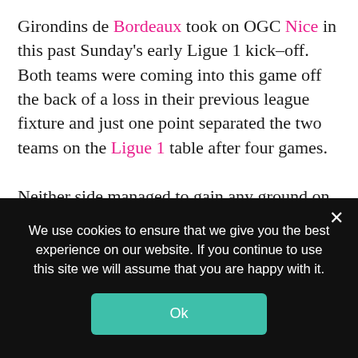Girondins de Bordeaux took on OGC Nice in this past Sunday's early Ligue 1 kick-off. Both teams were coming into this game off the back of a loss in their previous league fixture and just one point separated the two teams on the Ligue 1 table after four games.

Neither side managed to gain any ground on the other in Sunday's game, as this clash resulted in a 0-0 draw and in this tactical analysis piece, we will take a look at how both of these teams set up in terms of their tactics for this clash.
[Figure (photo): Partial view of a football pitch image, cropped at bottom of page]
We use cookies to ensure that we give you the best experience on our website. If you continue to use this site we will assume that you are happy with it.